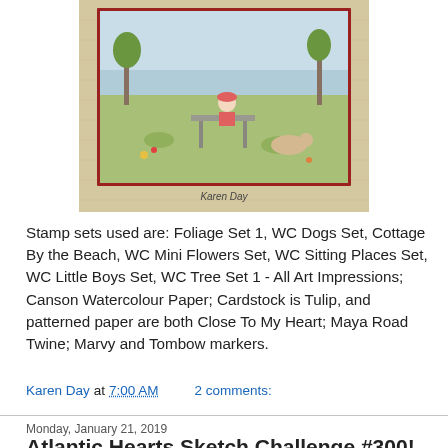[Figure (photo): Handmade craft card showing a watercolor scene of a child sitting on a bench outdoors with a dog nearby, surrounded by foliage. Card has a red-bordered inner panel and tan/cream patterned paper border. Caption reads 'Karen Day'.]
Stamp sets used are: Foliage Set 1, WC Dogs Set, Cottage By the Beach, WC Mini Flowers Set, WC Sitting Places Set, WC Little Boys Set, WC Tree Set 1 - All Art Impressions; Canson Watercolour Paper; Cardstock is Tulip, and patterned paper are both Close To My Heart; Maya Road Twine; Marvy and Tombow markers.
Karen Day at 7:00 AM    2 comments:
Monday, January 21, 2019
Atlantic Hearts Sketch Challenge #300!
I was so happy that Michelle asked me to be a guest designer for the 300th challenge (wow!) for the Atlantic